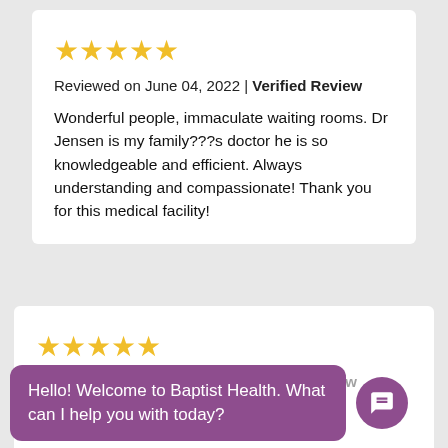[Figure (other): Five gold star rating icons]
Reviewed on June 04, 2022 | Verified Review
Wonderful people, immaculate waiting rooms. Dr Jensen is my family???s doctor he is so knowledgeable and efficient. Always understanding and compassionate! Thank you for this medical facility!
[Figure (other): Five gold star rating icons (second review)]
Reviewed on June 02, 2022 | Verified Review
great service.
[Figure (other): Chat overlay bubble: Hello! Welcome to Baptist Health. What can I help you with today? with purple chat icon]